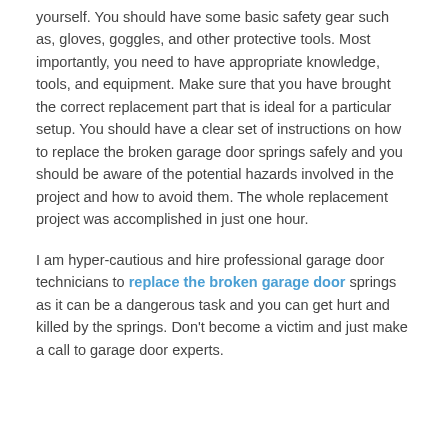yourself. You should have some basic safety gear such as, gloves, goggles, and other protective tools. Most importantly, you need to have appropriate knowledge, tools, and equipment. Make sure that you have brought the correct replacement part that is ideal for a particular setup. You should have a clear set of instructions on how to replace the broken garage door springs safely and you should be aware of the potential hazards involved in the project and how to avoid them. The whole replacement project was accomplished in just one hour.
I am hyper-cautious and hire professional garage door technicians to replace the broken garage door springs as it can be a dangerous task and you can get hurt and killed by the springs. Don't become a victim and just make a call to garage door experts.